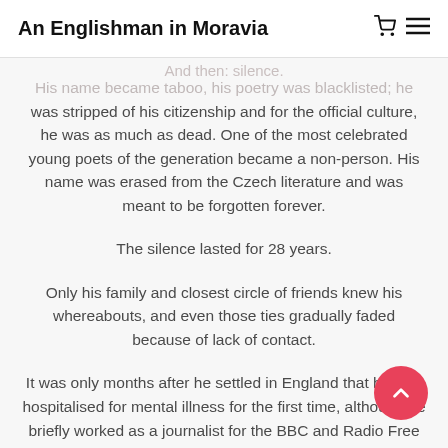An Englishman in Moravia
And then: silence. His name became taboo, his poetry was blacklisted; he was stripped of his citizenship and for the official culture, he was as much as dead. One of the most celebrated young poets of the generation became a non-person. His name was erased from the Czech literature and was meant to be forgotten forever.
The silence lasted for 28 years.
Only his family and closest circle of friends knew his whereabouts, and even those ties gradually faded because of lack of contact.
It was only months after he settled in England that he was hospitalised for mental illness for the first time, although he briefly worked as a journalist for the BBC and Radio Free Europe.